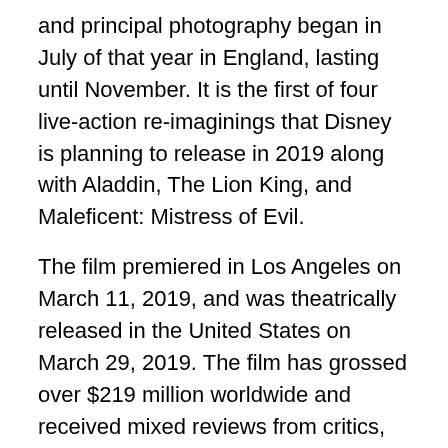and principal photography began in July of that year in England, lasting until November. It is the first of four live-action re-imaginings that Disney is planning to release in 2019 along with Aladdin, The Lion King, and Maleficent: Mistress of Evil.
The film premiered in Los Angeles on March 11, 2019, and was theatrically released in the United States on March 29, 2019. The film has grossed over $219 million worldwide and received mixed reviews from critics, who praised the performances of the cast and Burton's signature style but criticized the screenplay and "lack of heart" compared to the original.
Subcategories
This category has the following 3 subcategories, out of 3 total.